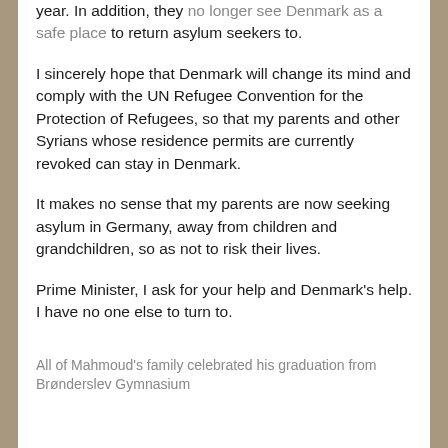year. In addition, they no longer see Denmark as a safe place to return asylum seekers to.
I sincerely hope that Denmark will change its mind and comply with the UN Refugee Convention for the Protection of Refugees, so that my parents and other Syrians whose residence permits are currently revoked can stay in Denmark.
It makes no sense that my parents are now seeking asylum in Germany, away from children and grandchildren, so as not to risk their lives.
Prime Minister, I ask for your help and Denmark's help. I have no one else to turn to.
All of Mahmoud's family celebrated his graduation from Brønderslev Gymnasium